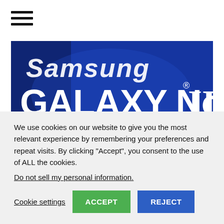[Figure (other): Hamburger/navigation menu icon with three horizontal black bars]
[Figure (photo): Photo of Samsung Galaxy Note III signage with large white text on blue background reading 'Samsung GALAXY Note III']
One thing has become ultra clear over the last few days and that is the internal model number for Samsung Galaxy Note 3. Without any
We use cookies on our website to give you the most relevant experience by remembering your preferences and repeat visits. By clicking “Accept”, you consent to the use of ALL the cookies.
Do not sell my personal information.
Cookie settings   ACCEPT   REJECT